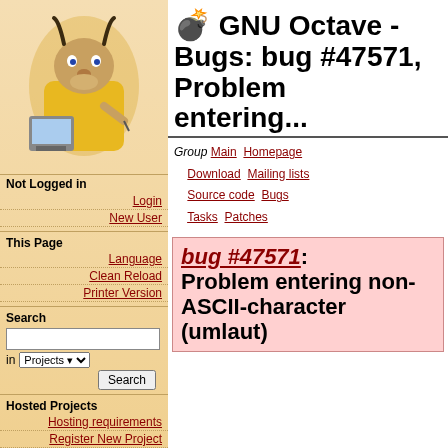[Figure (illustration): GNU mascot (gnu animal in yellow jacket) sitting at a computer]
Not Logged in
Login
New User
This Page
Language
Clean Reload
Printer Version
Search
Hosted Projects
Hosting requirements
Register New Project
Full List
Contributors Wanted
GNU Octave - Bugs: bug #47571, Problem entering...
Group Main Homepage Download Mailing lists Source code Bugs Tasks Patches
bug #47571: Problem entering non-ASCII-character (umlaut)